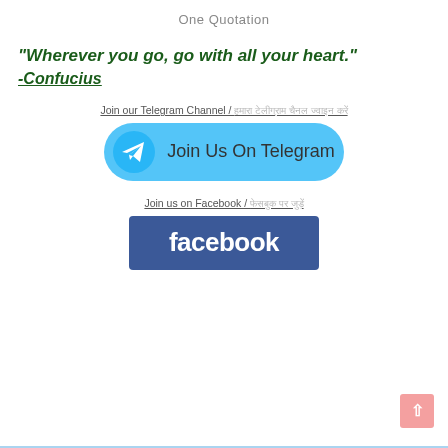One Quotation
“Wherever you go, go with all your heart.” -Confucius
Join our Telegram Channel / अमारा टेलिग्राम चेनल जोइन करें
[Figure (logo): Telegram join button with Telegram icon and text 'Join Us On Telegram' on a light blue rounded rectangle background]
Join us on Facebook / फेसबुक पर जुड़ें
[Figure (logo): Facebook logo button — blue rectangle with white bold text 'facebook']